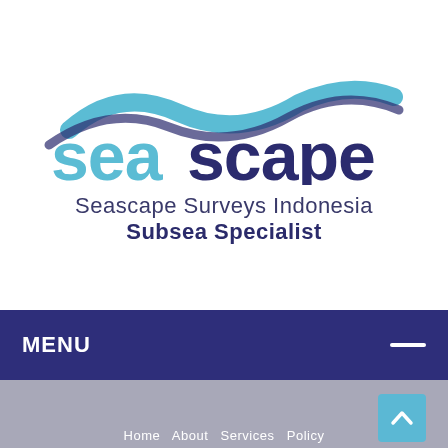[Figure (logo): Seascape Surveys Indonesia logo with wave graphic above stylized text 'seascape' in two-tone blue, followed by 'Seascape Surveys Indonesia' and 'Subsea Specialist']
MENU
[Figure (screenshot): Gray content area with a teal/blue scroll-to-top button with upward chevron in the bottom right, and partially visible navigation text at the bottom]